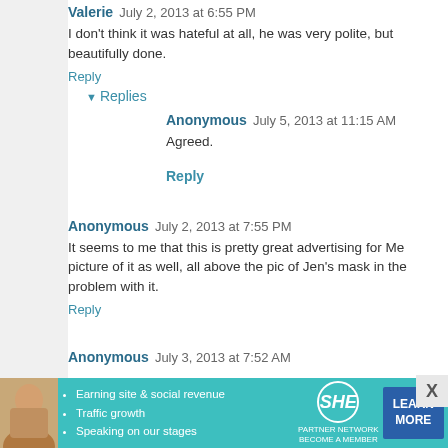Valerie July 2, 2013 at 6:55 PM
I don't think it was hateful at all, he was very polite, but beautifully done.
Reply
Replies
Anonymous July 5, 2013 at 11:15 AM
Agreed.
Reply
Anonymous July 2, 2013 at 7:55 PM
It seems to me that this is pretty great advertising for Me... picture of it as well, all above the pic of Jen's mask in the... problem with it.
Reply
Anonymous July 3, 2013 at 7:52 AM
[Figure (infographic): SHE Partner Network advertisement banner with a woman's photo, bullet points about earning site & social revenue, traffic growth, speaking on our stages, SHE logo, and a Learn More button]